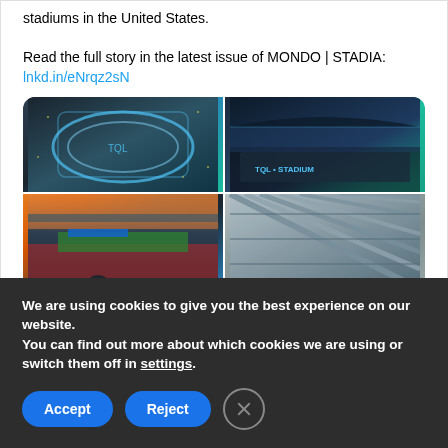stadiums in the United States.

Read the full story in the latest issue of MONDO | STADIA: lnkd.in/eNrqz2sN
[Figure (photo): 2x2 grid of stadium photos: aerial view of illuminated stadium (top-left), exterior night view of TGL Stadium sign (top-right), interior crowd view of soccer match at dusk (bottom-left), close-up architectural detail of stadium roof structure (bottom-right)]
1 like
We are using cookies to give you the best experience on our website.
You can find out more about which cookies we are using or switch them off in settings.